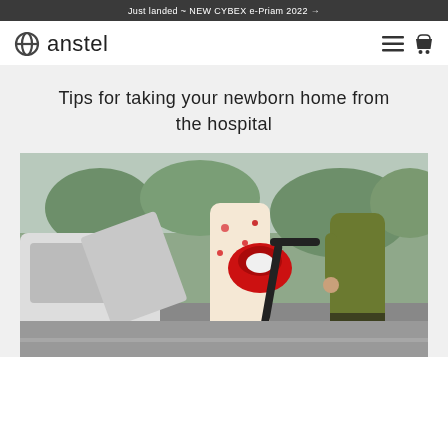Just landed ~ NEW CYBEX e-Priam 2022 →
[Figure (logo): Anstel logo: circular ring icon followed by 'anstel' wordmark in light sans-serif]
Tips for taking your newborn home from the hospital
[Figure (photo): Woman in floral dress carrying a red CYBEX infant car seat next to an open car door, with a man in olive sweater holding a stroller handlebar. Outdoor urban setting with trees in background.]